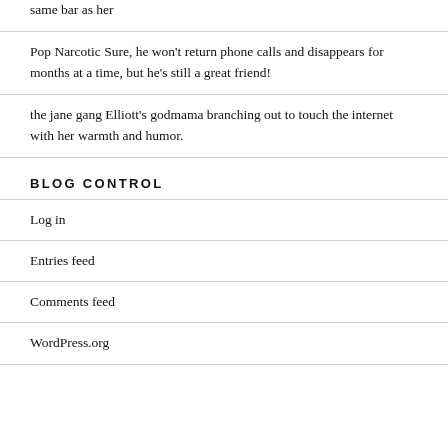same bar as her
Pop Narcotic Sure, he won't return phone calls and disappears for months at a time, but he's still a great friend!
the jane gang Elliott's godmama branching out to touch the internet with her warmth and humor.
BLOG CONTROL
Log in
Entries feed
Comments feed
WordPress.org